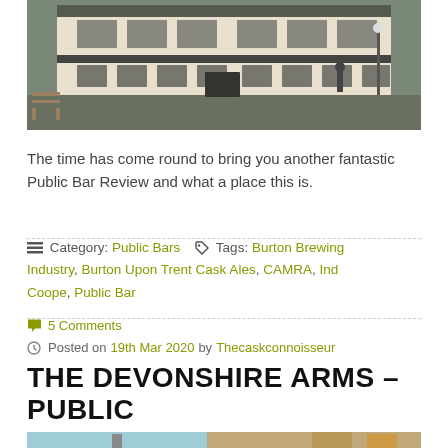[Figure (photo): Exterior photograph of a pub building with white/cream facade, windows, and outdoor benches visible in foreground]
The time has come round to bring you another fantastic Public Bar Review and what a place this is.
Category: Public Bars  Tags: Burton Brewing Industry, Burton Upon Trent Cask Ales, CAMRA, Ind Coope, Public Bar
5 Comments
Posted on 19th Mar 2020 by Thecaskconnoisseur
THE DEVONSHIRE ARMS – PUBLIC BAR REVIEW
[Figure (photo): Partial view of another pub or building exterior, partially cropped at bottom of page]